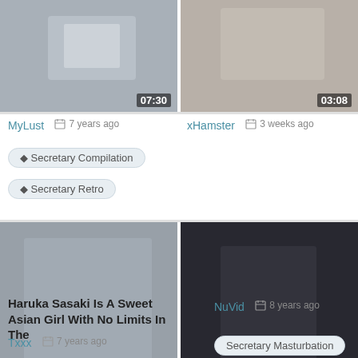[Figure (screenshot): Top-left video thumbnail with duration 07:30]
[Figure (screenshot): Top-right video thumbnail with duration 03:08]
MyLust   7 years ago
xHamster   3 weeks ago
Secretary Compilation
Secretary Retro
[Figure (screenshot): Bottom-left video thumbnail: Haruka Sasaki, duration 08:00]
[Figure (screenshot): Bottom-right video thumbnail, duration 05:51, scroll button overlay]
Haruka Sasaki Is A Sweet Asian Girl With No Limits In The
NuVid   8 years ago
Txxx   7 years ago
Secretary Masturbation